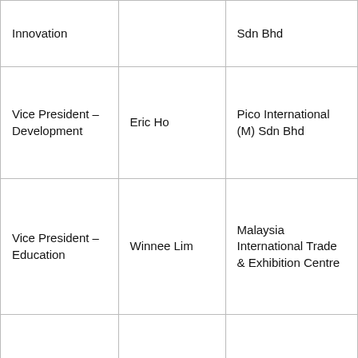| Innovation |  | Sdn Bhd |
| Vice President – Development | Eric Ho | Pico International (M) Sdn Bhd |
| Vice President – Education | Winnee Lim | Malaysia International Trade & Exhibition Centre |
| Vice President – Advocacy | Jaggarao Simancha | ASC Agenda Suria Communication Sdn Bhd |
|  |  |  |